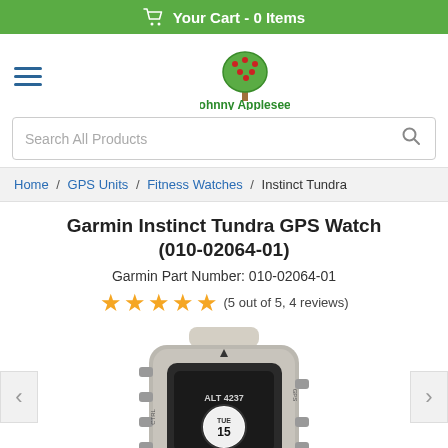Your Cart - 0 Items
[Figure (logo): Johnny Appleseed logo: a tree with red apples and green leaves, with text 'Johnny Appleseed' below]
Search All Products
Home / GPS Units / Fitness Watches / Instinct Tundra
Garmin Instinct Tundra GPS Watch (010-02064-01)
Garmin Part Number: 010-02064-01
(5 out of 5, 4 reviews)
[Figure (photo): Garmin Instinct Tundra GPS Watch in tan/beige color showing the watch face with ALT 4237 and TUE 15 displayed, with left and right navigation arrows]